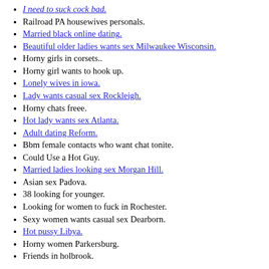I need to suck cock bad.
Railroad PA housewives personals.
Married black online dating.
Beautiful older ladies wants sex Milwaukee Wisconsin.
Horny girls in corsets..
Horny girl wants to hook up.
Lonely wives in iowa.
Lady wants casual sex Rockleigh.
Horny chats freee.
Hot lady wants sex Atlanta.
Adult dating Reform.
Bbm female contacts who want chat tonite.
Could Use a Hot Guy.
Married ladies looking sex Morgan Hill.
Asian sex Padova.
38 looking for younger.
Looking for women to fuck in Rochester.
Sexy women wants casual sex Dearborn.
Hot pussy Libya.
Horny women Parkersburg.
Friends in holbrook.
Stunning brunette Madison makes a squeaky sound when fucking herself with a dildo